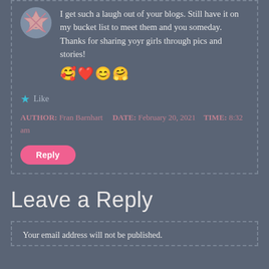I get such a laugh out of your blogs. Still have it on my bucket list to meet them and you someday. Thanks for sharing yoyr girls through pics and stories! 🥰❤️😊🤗
Like
AUTHOR: Fran Barnhart   DATE: February 20, 2021   TIME: 8:32 am
Reply
Leave a Reply
Your email address will not be published.